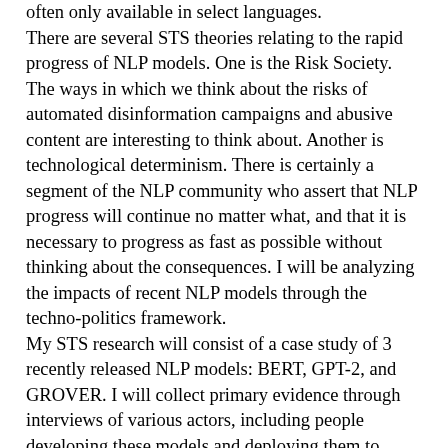often only available in select languages.
There are several STS theories relating to the rapid progress of NLP models. One is the Risk Society. The ways in which we think about the risks of automated disinformation campaigns and abusive content are interesting to think about. Another is technological determinism. There is certainly a segment of the NLP community who assert that NLP progress will continue no matter what, and that it is necessary to progress as fast as possible without thinking about the consequences. I will be analyzing the impacts of recent NLP models through the techno-politics framework.
My STS research will consist of a case study of 3 recently released NLP models: BERT, GPT-2, and GROVER. I will collect primary evidence through interviews of various actors, including people developing these models and deploying them to various applications. I will also collect secondary evidence through prior literature and media accounts related to the NLP models and their implications. I will analyze the political consequences of NLP models, both intentional and unintentional. I expect to learn more about known threats such as automated disinformation campaigns and discover new threats.